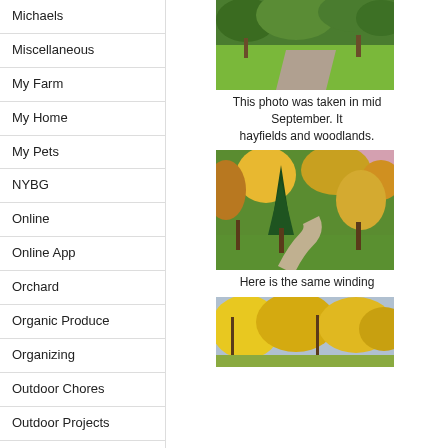Michaels
Miscellaneous
My Farm
My Home
My Pets
NYBG
Online
Online App
Orchard
Organic Produce
Organizing
Outdoor Chores
Outdoor Projects
Peafowl
Pergola
Pigeons
[Figure (photo): A green lawn and tree-lined driveway in mid September with lush green grass and trees]
This photo was taken in mid September. It hayfields and woodlands.
[Figure (photo): A winding path through autumn-colored trees with green, orange, and yellow foliage]
Here is the same winding
[Figure (photo): Autumn trees with bright yellow and orange foliage against a sky background]